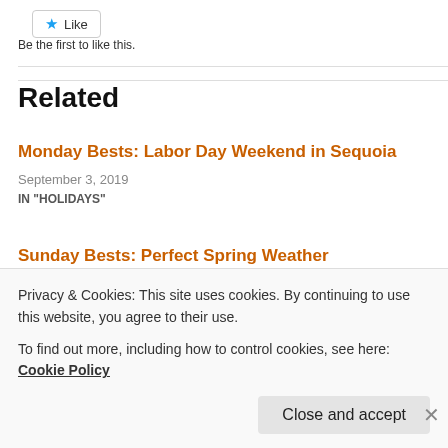[Figure (other): Like button with blue star icon]
Be the first to like this.
Related
Monday Bests: Labor Day Weekend in Sequoia
September 3, 2019
IN "HOLIDAYS"
Sunday Bests: Perfect Spring Weather
Privacy & Cookies: This site uses cookies. By continuing to use this website, you agree to their use.
To find out more, including how to control cookies, see here: Cookie Policy
Close and accept